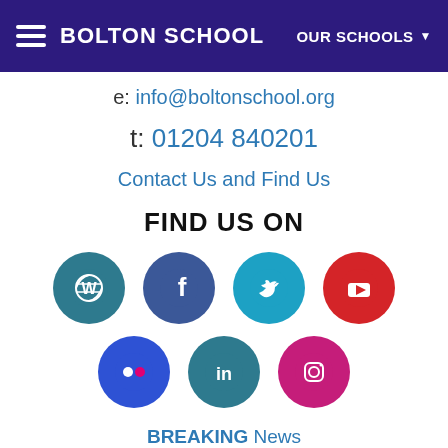BOLTON SCHOOL | OUR SCHOOLS
e: info@boltonschool.org
t: 01204 840201
Contact Us and Find Us
FIND US ON
[Figure (infographic): Row of social media icons: WordPress (teal), Facebook (dark blue), Twitter (light blue), YouTube (red)]
[Figure (infographic): Row of social media icons: Flickr (blue), LinkedIn (teal), Instagram (pink/magenta)]
BREAKING News
What People Say About Us
Employment, Teacher Training and Governor